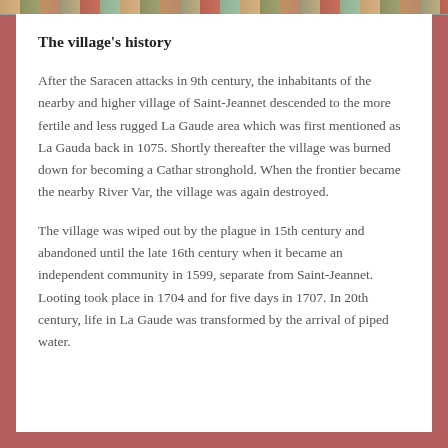[Figure (photo): Partial image strip at top of page showing a village scene]
The village's history
After the Saracen attacks in 9th century, the inhabitants of the nearby and higher village of Saint-Jeannet descended to the more fertile and less rugged La Gaude area which was first mentioned as La Gauda back in 1075. Shortly thereafter the village was burned down for becoming a Cathar stronghold. When the frontier became the nearby River Var, the village was again destroyed.
The village was wiped out by the plague in 15th century and abandoned until the late 16th century when it became an independent community in 1599, separate from Saint-Jeannet. Looting took place in 1704 and for five days in 1707. In 20th century, life in La Gaude was transformed by the arrival of piped water.